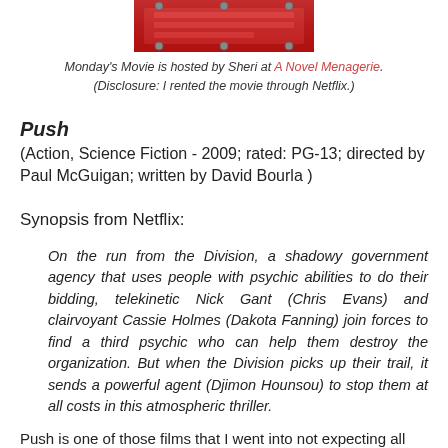[Figure (photo): Top portion of a movie poster or DVD cover for Push, showing red and action-themed imagery]
Monday's Movie is hosted by Sheri at A Novel Menagerie.
(Disclosure: I rented the movie through Netflix.)
Push
(Action, Science Fiction - 2009; rated: PG-13; directed by Paul McGuigan; written by David Bourla )
Synopsis from Netflix:
On the run from the Division, a shadowy government agency that uses people with psychic abilities to do their bidding, telekinetic Nick Gant (Chris Evans) and clairvoyant Cassie Holmes (Dakota Fanning) join forces to find a third psychic who can help them destroy the organization. But when the Division picks up their trail, it sends a powerful agent (Djimon Hounsou) to stop them at all costs in this atmospheric thriller.
Push is one of those films that I went into not expecting all